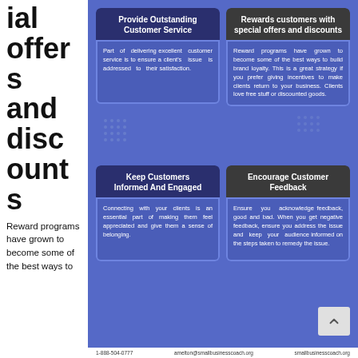ial offers and discounts
Reward programs have grown to become some of the best ways to
[Figure (infographic): Four-panel infographic on blue background with two rows of cards. Top row: 'Provide Outstanding Customer Service' (dark blue header) with body text, and 'Rewards customers with special offers and discounts' (dark gray header) with body text. Bottom row: 'Keep Customers Informed And Engaged' (dark blue header) with body text, and 'Encourage Customer Feedback' (dark gray header) with body text.]
1-888-504-0777   amelton@smallbusinesscoach.org   smallbusinesscoach.org